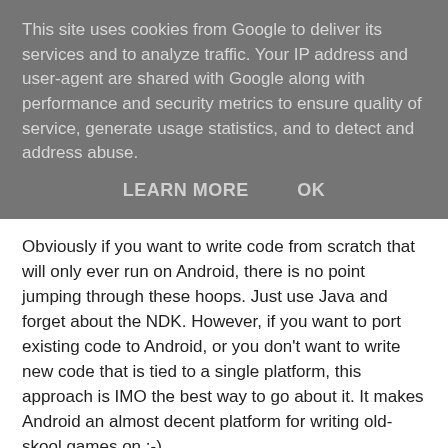This site uses cookies from Google to deliver its services and to analyze traffic. Your IP address and user-agent are shared with Google along with performance and security metrics to ensure quality of service, generate usage statistics, and to detect and address abuse.
LEARN MORE    OK
Obviously if you want to write code from scratch that will only ever run on Android, there is no point jumping through these hoops. Just use Java and forget about the NDK. However, if you want to port existing code to Android, or you don't want to write new code that is tied to a single platform, this approach is IMO the best way to go about it. It makes Android an almost decent platform for writing old-skool games on :-)
I've made a compilable example of this code available on github here.
Richard Quirk at 2:00 am